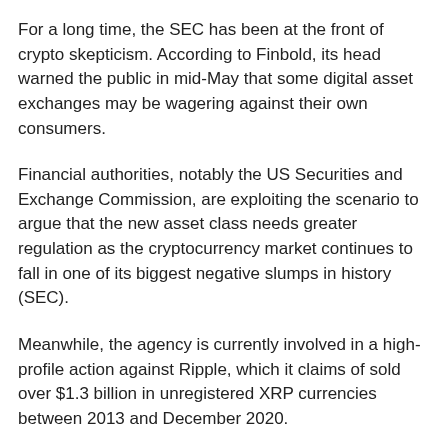For a long time, the SEC has been at the front of crypto skepticism. According to Finbold, its head warned the public in mid-May that some digital asset exchanges may be wagering against their own consumers.
Financial authorities, notably the US Securities and Exchange Commission, are exploiting the scenario to argue that the new asset class needs greater regulation as the cryptocurrency market continues to fall in one of its biggest negative slumps in history (SEC).
Meanwhile, the agency is currently involved in a high-profile action against Ripple, which it claims of sold over $1.3 billion in unregistered XRP currencies between 2013 and December 2020.